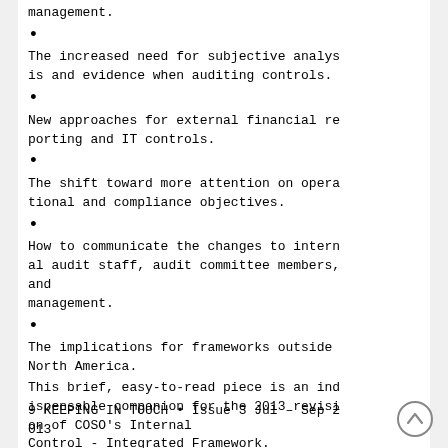management.
The increased need for subjective analysis and evidence when auditing controls.
New approaches for external financial reporting and IT controls.
The shift toward more attention on operational and compliance objectives.
How to communicate the changes to internal audit staff, audit committee members, and management.
The implications for frameworks outside North America.
This brief, easy-to-read piece is an indispensable companion for the 2013 revision of COSO’s Internal Control - Integrated Framework.
9 KEEPING IN TOUCH • Issue 3 Jul – Sep 2013